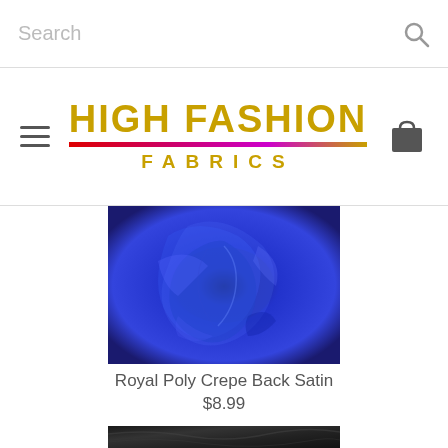Search
[Figure (logo): High Fashion Fabrics logo with gold text and multicolor underline]
[Figure (photo): Royal blue poly crepe back satin fabric draped and swirled showing shiny texture]
Royal Poly Crepe Back Satin
$8.99
[Figure (photo): Black satin fabric partially visible at bottom of page showing smooth draped texture]